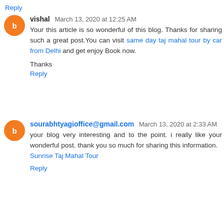Reply
vishal March 13, 2020 at 12:25 AM
Your this article is so wonderful of this blog. Thanks for sharing such a great post.You can visit same day taj mahal tour by car from Delhi and get enjoy Book now.
Thanks
Reply
sourabhtyagioffice@gmail.com March 13, 2020 at 2:33 AM
your blog very interesting and to the point. i really like your wonderful post. thank you so much for sharing this information.
Sunrise Taj Mahal Tour
Reply